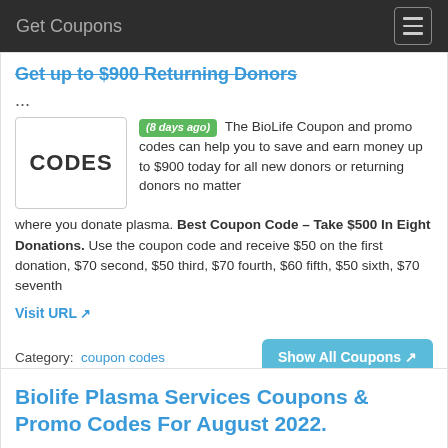Get Coupons
Get up to $900 Returning Donors
...
(8 days ago) The BioLife Coupon and promo codes can help you to save and earn money up to $900 today for all new donors or returning donors no matter where you donate plasma. Best Coupon Code – Take $500 In Eight Donations. Use the coupon code and receive $50 on the first donation, $70 second, $50 third, $70 fourth, $60 fifth, $50 sixth, $70 seventh
Visit URL
Category: coupon codes
Biolife Plasma Services Coupons & Promo Codes For August 2022.